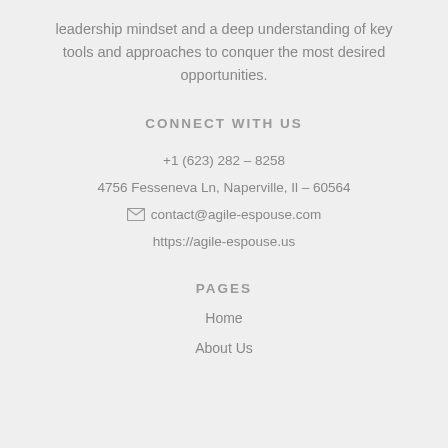leadership mindset and a deep understanding of key tools and approaches to conquer the most desired opportunities.
CONNECT WITH US
+1 (623) 282 – 8258
4756 Fesseneva Ln, Naperville, Il – 60564
contact@agile-espouse.com
https://agile-espouse.us
PAGES
Home
About Us